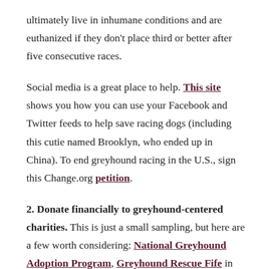ultimately live in inhumane conditions and are euthanized if they don't place third or better after five consecutive races.
Social media is a great place to help. This site shows you how you can use your Facebook and Twitter feeds to help save racing dogs (including this cutie named Brooklyn, who ended up in China). To end greyhound racing in the U.S., sign this Change.org petition.
2. Donate financially to greyhound-centered charities. This is just a small sampling, but here are a few worth considering: National Greyhound Adoption Program, Greyhound Rescue Fife in Scotland (where Harry Potter author J.K. Rowling adopted her greyhound, Sapphire), Grey